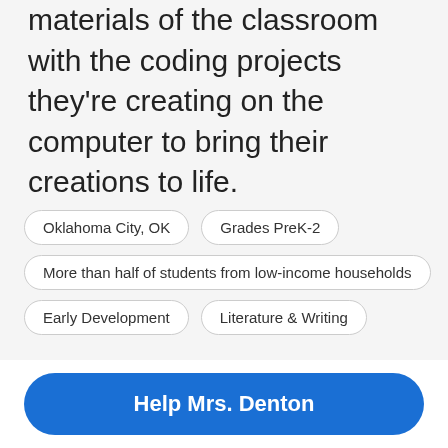materials of the classroom with the coding projects they're creating on the computer to bring their creations to life.
Oklahoma City, OK
Grades PreK-2
More than half of students from low-income households
Early Development
Literature & Writing
HOORAY! THIS PROJECT IS FULLY FUNDED
Keep the momentum going! Make a donation to Mrs. Denton for her next project!
Help Mrs. Denton